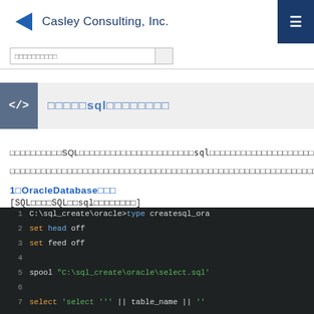Casley Consulting, Inc.
□□□□□sql□□□□□□□□
□□□□□□□□□□SQL□□□□□□□□□□□□□□□□□□□□□□sql□□□□□□□□□□□□□□□□□□□□□□
□□□□□□□□□□□□□□□□□□□□□□□□□□□□□□□□□□□□□□□□□□□□□□□□□□□□□□□□□□□□□□□□□□□□□□□□□□□□□□□□□□□□□□□□sql□□□□□□□□□□□□□□□□
1□OracleDatabase□□□
[SQL□□□□SQL□□sql□□□□□□□□]
C:\sql_create\oracle\createsql_oracle.sql
[Figure (screenshot): Terminal/command-line code block showing SQL script content lines 1-7 with syntax highlighting on dark background]